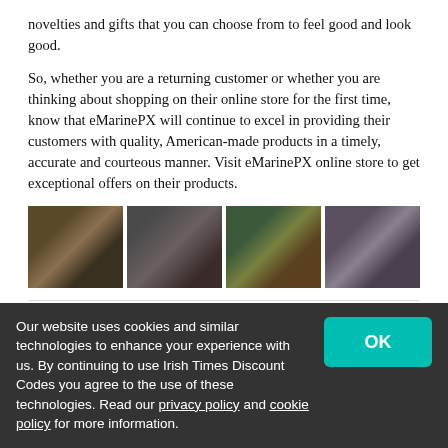novelties and gifts that you can choose from to feel good and look good.
So, whether you are a returning customer or whether you are thinking about shopping on their online store for the first time, know that eMarinePX will continue to excel in providing their customers with quality, American-made products in a timely, accurate and courteous manner. Visit eMarinePX online store to get exceptional offers on their products.
[Figure (photo): Four product images side by side: military hats, collectible pins/coins, miscellaneous items, and jewelry/necklaces on wooden surface]
How Do I Use My eMarinePX Promo Code?
Our website uses cookies and similar technologies to enhance your experience with us. By continuing to use Irish Times Discount Codes you agree to the use of these technologies. Read our privacy policy and cookie policy for more information.